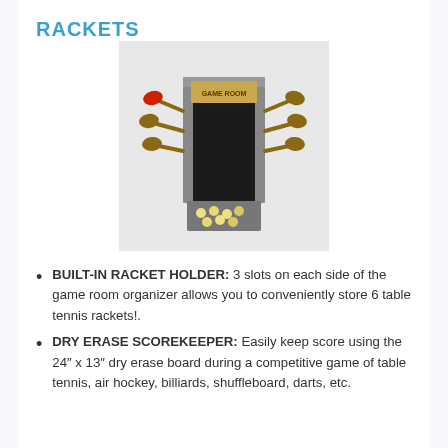RACKETS
[Figure (photo): Product photo of a game room organizer with racket holder slots on each side, a chalkboard scorekeeper panel with 'GAME ROOM' text at top, and a ball storage tray at the bottom.]
BUILT-IN RACKET HOLDER: 3 slots on each side of the game room organizer allows you to conveniently store 6 table tennis rackets!.
DRY ERASE SCOREKEEPER: Easily keep score using the 24″ x 13″ dry erase board during a competitive game of table tennis, air hockey, billiards, shuffleboard, darts, etc.